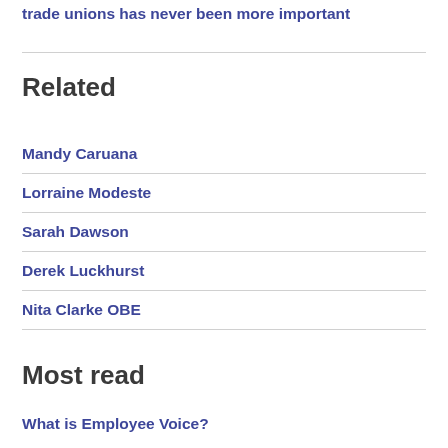trade unions has never been more important
Related
Mandy Caruana
Lorraine Modeste
Sarah Dawson
Derek Luckhurst
Nita Clarke OBE
Most read
What is Employee Voice?